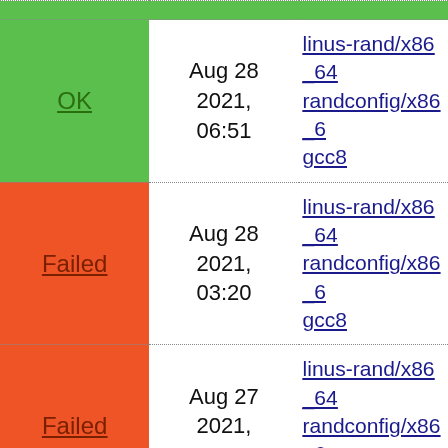| Status | Date | Link |
| --- | --- | --- |
| OK | Aug 28 2021, 06:51 | linus-rand/x86_64 randconfig/x86_6 gcc8 |
| Failed | Aug 28 2021, 03:20 | linus-rand/x86_64 randconfig/x86_6 gcc8 |
| Failed | Aug 27 2021, 13:54 | linus-rand/x86_64 randconfig/x86_6 gcc8 |
| OK | Aug 27 2021, 08:22 | linus-rand/x86_64 randconfig/x86_6 gcc8 |
| OK | Aug 27 2021, 05:39 | linus-rand/x86_64 randconfig/x86_6 gcc8 |
| OK | Aug 26 2021, 06:55 | linus-rand/x86_64 randconfig/x86_6 gcc8 |